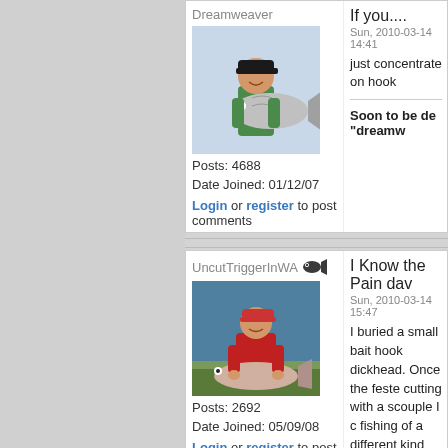Dreamweaver
[Figure (photo): Profile photo of Dreamweaver user holding a large fish]
Posts: 4688
Date Joined: 01/12/07
If you....
Sun, 2010-03-14 14:41
just concentrate on hook
Soon to be de "dreamw
Login or register to post comments
UncutTriggerInWA
[Figure (photo): Profile photo of UncutTriggerInWA user holding a large fish on a boat]
Posts: 2692
Date Joined: 05/09/08
I Know the Pain dav
Sun, 2010-03-14 15:47
I buried a small bait hook dickhead. Once the feste cutting with a scouple I c fishing of a different kind my arm on the point of m day and then it was off to
Vince.
Work smart and fish ofte Member and die-hard su
Login or register to post comments